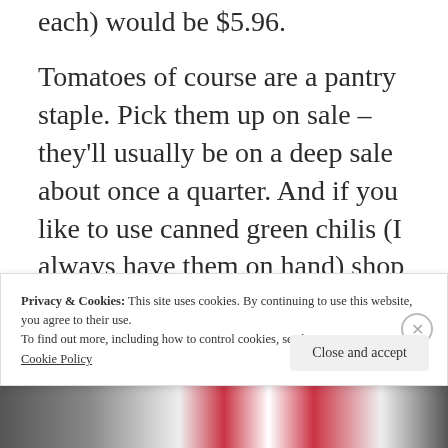each) would be $5.96.
Tomatoes of course are a pantry staple. Pick them up on sale – they'll usually be on a deep sale about once a quarter. And if you like to use canned green chilis (I always have them on hand) shop around Cinco de Mayo and watch
Privacy & Cookies: This site uses cookies. By continuing to use this website, you agree to their use.
To find out more, including how to control cookies, see here:
Cookie Policy
Close and accept
[Figure (photo): Partially visible image strip at bottom of page]